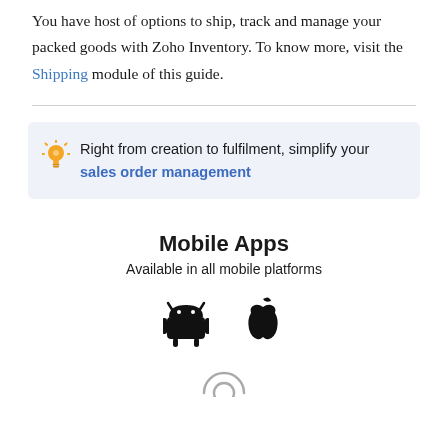You have host of options to ship, track and manage your packed goods with Zoho Inventory. To know more, visit the Shipping module of this guide.
Right from creation to fulfilment, simplify your sales order management
Mobile Apps
Available in all mobile platforms
[Figure (illustration): Android and Apple iOS platform icons (Android robot icon and Apple logo icon)]
[Figure (illustration): Partial circular arrow/back icon at bottom of page]